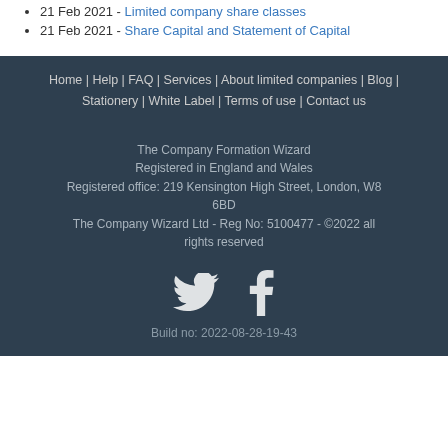21 Feb 2021 - Limited company share classes
21 Feb 2021 - Share Capital and Statement of Capital
Home | Help | FAQ | Services | About limited companies | Blog | Stationery | White Label | Terms of use | Contact us
The Company Formation Wizard
Registered in England and Wales
Registered office: 219 Kensington High Street, London, W8 6BD
The Company Wizard Ltd - Reg No: 5100477 - ©2022 all rights reserved
[Figure (illustration): Twitter and Facebook social media icons in white]
Build no: 2022-08-28-19-43